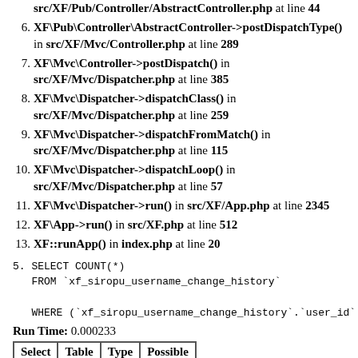src/XF/Pub/Controller/AbstractController.php at line 44
6. XF\Pub\Controller\AbstractController->postDispatchType() in src/XF/Mvc/Controller.php at line 289
7. XF\Mvc\Controller->postDispatch() in src/XF/Mvc/Dispatcher.php at line 385
8. XF\Mvc\Dispatcher->dispatchClass() in src/XF/Mvc/Dispatcher.php at line 259
9. XF\Mvc\Dispatcher->dispatchFromMatch() in src/XF/Mvc/Dispatcher.php at line 115
10. XF\Mvc\Dispatcher->dispatchLoop() in src/XF/Mvc/Dispatcher.php at line 57
11. XF\Mvc\Dispatcher->run() in src/XF/App.php at line 2345
12. XF\App->run() in src/XF.php at line 512
13. XF::runApp() in index.php at line 20
5. SELECT COUNT(*)
   FROM `xf_siropu_username_change_history`

   WHERE (`xf_siropu_username_change_history`.`user_id`
Run Time: 0.000233
| Select Type | Table | Type | Possible Keys |
| --- | --- | --- | --- |